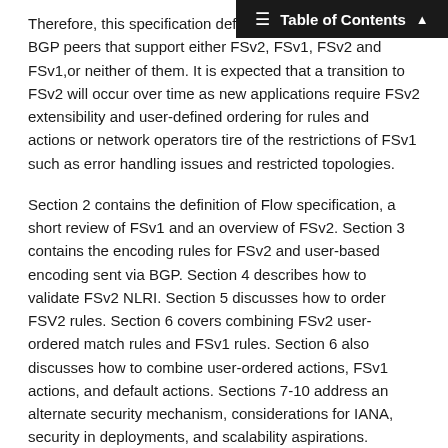Table of Contents
Therefore, this specification defines interoperability with BGP peers that support either FSv2, FSv1, FSv2 and FSv1,or neither of them. It is expected that a transition to FSv2 will occur over time as new applications require FSv2 extensibility and user-defined ordering for rules and actions or network operators tire of the restrictions of FSv1 such as error handling issues and restricted topologies.
Section 2 contains the definition of Flow specification, a short review of FSv1 and an overview of FSv2. Section 3 contains the encoding rules for FSv2 and user-based encoding sent via BGP. Section 4 describes how to validate FSv2 NLRI. Section 5 discusses how to order FSV2 rules. Section 6 covers combining FSv2 user-ordered match rules and FSv1 rules. Section 6 also discusses how to combine user-ordered actions, FSv1 actions, and default actions. Sections 7-10 address an alternate security mechanism, considerations for IANA, security in deployments, and scalability aspirations.
1.1  Definitions and Acronyms